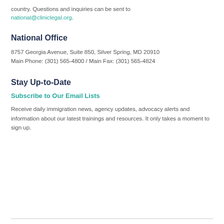country. Questions and inquiries can be sent to national@cliniclegal.org.
National Office
8757 Georgia Avenue, Suite 850, Silver Spring, MD 20910
Main Phone: (301) 565-4800 / Main Fax: (301) 565-4824
Stay Up-to-Date
Subscribe to Our Email Lists
Receive daily immigration news, agency updates, advocacy alerts and information about our latest trainings and resources. It only takes a moment to sign up.